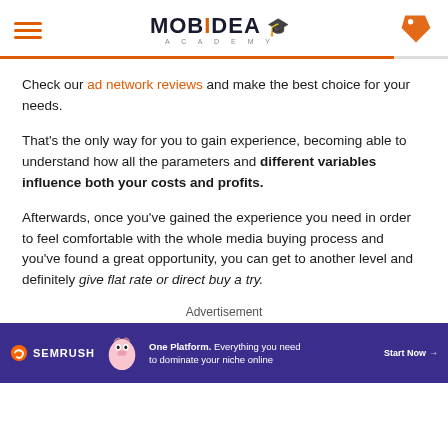Mobidea Academy
Check our ad network reviews and make the best choice for your needs.
That's the only way for you to gain experience, becoming able to understand how all the parameters and different variables influence both your costs and profits.
Afterwards, once you've gained the experience you need in order to feel comfortable with the whole media buying process and you've found a great opportunity, you can get to another level and definitely give flat rate or direct buy a try.
Advertisement
[Figure (illustration): SEMrush advertisement banner with purple background, mascot character, headline 'One Platform. Everything you need to dominate your niche online', and 'Start Now' call to action.]